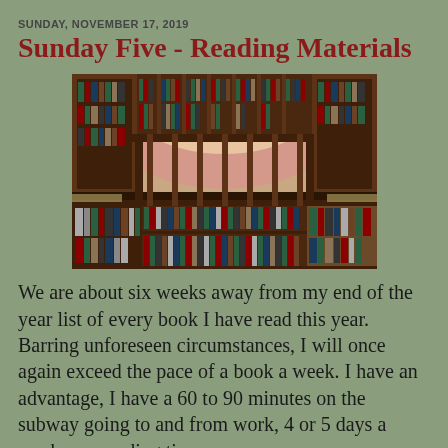SUNDAY, NOVEMBER 17, 2019
Sunday Five - Reading Materials
[Figure (photo): Interior view of a large library with two levels of dark wood bookshelves filled with books, viewed from below looking up at the upper gallery level.]
We are about six weeks away from my end of the year list of every book I have read this year. Barring unforeseen circumstances,  I will once again exceed the pace of a book a week.  I have an advantage, I have a 60 to 90 minutes on the subway going to and from work, 4 or 5 days a week, my reading time.